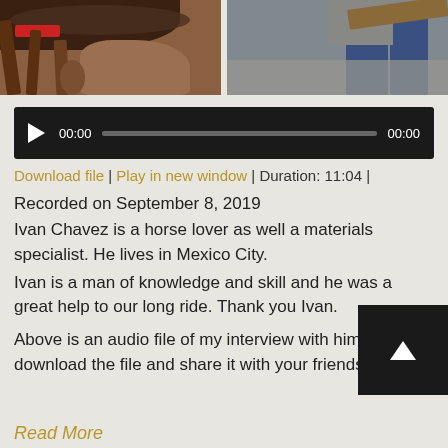[Figure (photo): Photo strip showing horse saddle equipment on the left and a person wearing jeans standing near a wooden plank and stone wall on the right]
[Figure (screenshot): Audio player widget with dark background, play button, time counter showing 00:00, progress bar, and end time 00:00]
Download file | Play in new window | Duration: 11:04 |
Recorded on September 8, 2019
Ivan Chavez is a horse lover as well a materials specialist. He lives in Mexico City.
Ivan is a man of knowledge and skill and he was a great help to our long ride. Thank you Ivan.
Above is an audio file of my interview with him. You can download the file and share it with your friends!
Read More